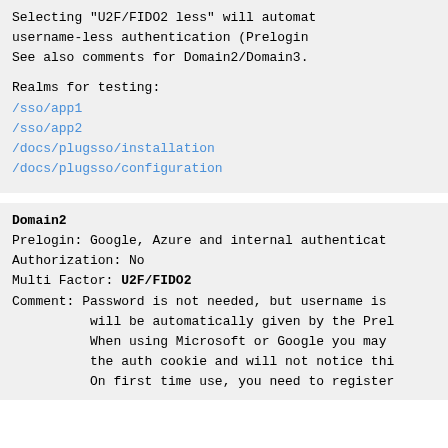Selecting "U2F/FIDO2 less" will automat
username-less authentication (Prelogin
See also comments for Domain2/Domain3.
Realms for testing:
/sso/app1
/sso/app2
/docs/plugsso/installation
/docs/plugsso/configuration
Domain2
Prelogin: Google, Azure and internal authenticat
Authorization: No
Multi Factor: U2F/FIDO2
Comment: Password is not needed, but username is
         will be automatically given by the Prel
         When using Microsoft or Google you may
         the auth cookie and will not notice thi
         On first time use, you need to register